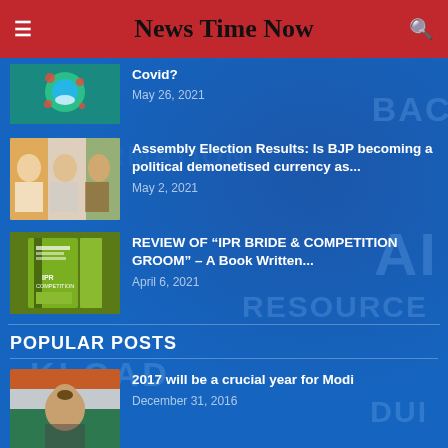News Time Now
Covid?
May 26, 2021
Assembly Election Results: Is BJP becoming a political demonetised currency as...
May 2, 2021
REVIEW OF "IPR BRIDE & COMPETITION GROOM" – A Book Written...
April 6, 2021
POPULAR POSTS
2017 will be a crucial year for Modi
December 31, 2016